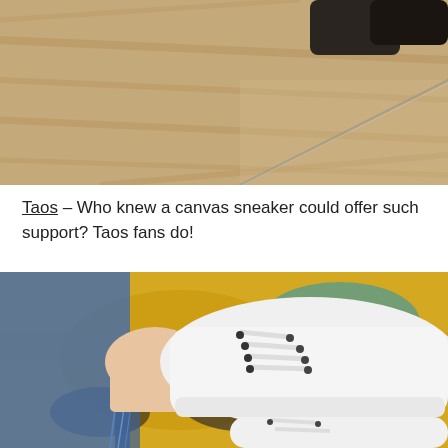[Figure (photo): Close-up photo of dark shoes on a wooden floor surface, viewed at an angle with a mirror or glass edge visible.]
Taos – Who knew a canvas sneaker could offer such support? Taos fans do!
[Figure (photo): Photo of a person wearing white Taos canvas lace-up sneakers with distressed/frayed denim jeans, standing on a colorful patterned rug with yellow, teal, and dark colors.]